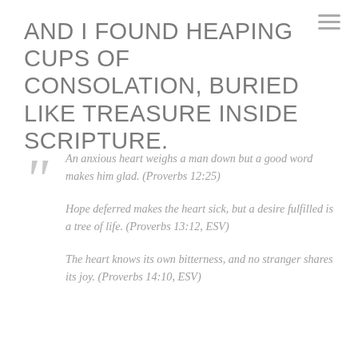AND I FOUND HEAPING CUPS OF CONSOLATION, BURIED LIKE TREASURE INSIDE SCRIPTURE.
An anxious heart weighs a man down but a good word makes him glad. (Proverbs 12:25)
Hope deferred makes the heart sick, but a desire fulfilled is a tree of life. (Proverbs 13:12, ESV)
The heart knows its own bitterness, and no stranger shares its joy. (Proverbs 14:10, ESV)